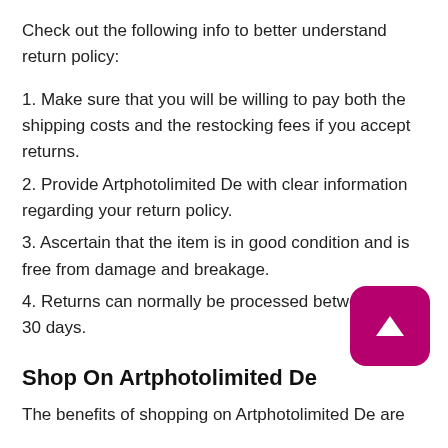Check out the following info to better understand return policy:
1. Make sure that you will be willing to pay both the shipping costs and the restocking fees if you accept returns.
2. Provide Artphotolimited De with clear information regarding your return policy.
3. Ascertain that the item is in good condition and is free from damage and breakage.
4. Returns can normally be processed between 7 and 30 days.
Shop On Artphotolimited De
The benefits of shopping on Artphotolimited De are